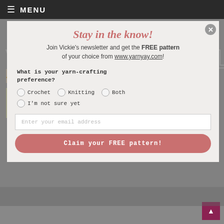≡ MENU
VICKIE HOWELL
SEP  28
Stay in the know!
Join Vickie's newsletter and get the FREE pattern of your choice from www.yarnyay.com!
What is your yarn-crafting preference?
Crochet
Knitting
Both
I'm not sure yet
Enter your email address
Claim your FREE pattern!